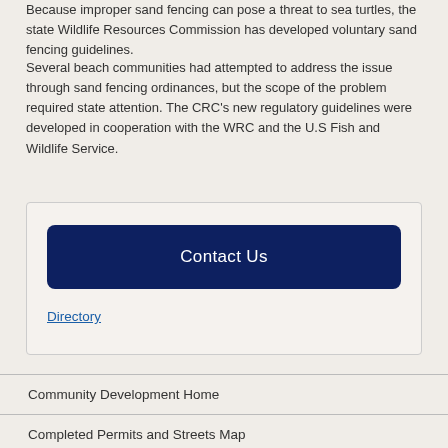Because improper sand fencing can pose a threat to sea turtles, the state Wildlife Resources Commission has developed voluntary sand fencing guidelines.
Several beach communities had attempted to address the issue through sand fencing ordinances, but the scope of the problem required state attention. The CRC's new regulatory guidelines were developed in cooperation with the WRC and the U.S Fish and Wildlife Service.
[Figure (other): A box with a dark navy 'Contact Us' button and a 'Directory' hyperlink below it]
Community Development Home
Completed Permits and Streets Map